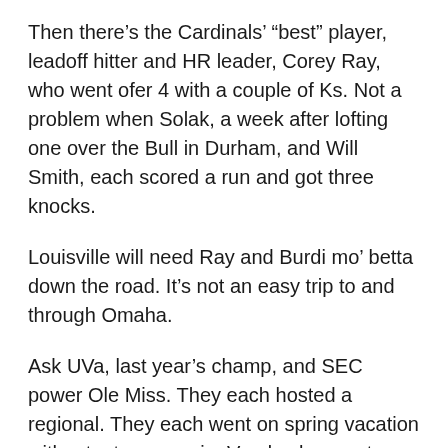Then there’s the Cardinals’ “best” player, leadoff hitter and HR leader, Corey Ray, who went ofer 4 with a couple of Ks. Not a problem when Solak, a week after lofting one over the Bull in Durham, and Will Smith, each scored a run and got three knocks.
Louisville will need Ray and Burdi mo’ betta down the road. It’s not an easy trip to and through Omaha.
Ask UVa, last year’s champ, and SEC power Ole Miss. They each hosted a regional. They each went on spring vacation without a tourney win. Vandy also went down quickly, but, sadly, the Commodores had a legit excuse for lack of focus.
— Seedy K